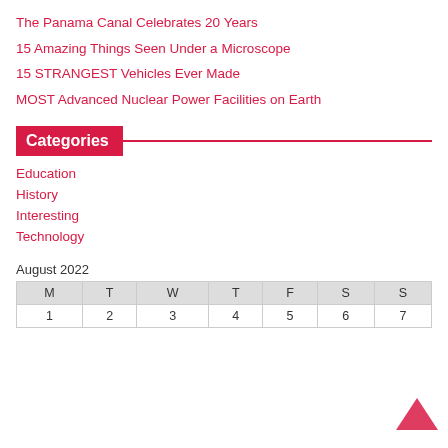The Panama Canal Celebrates 20 Years
15 Amazing Things Seen Under a Microscope
15 STRANGEST Vehicles Ever Made
MOST Advanced Nuclear Power Facilities on Earth
Categories
Education
History
Interesting
Technology
August 2022
| M | T | W | T | F | S | S |
| --- | --- | --- | --- | --- | --- | --- |
| 1 | 2 | 3 | 4 | 5 | 6 | 7 |